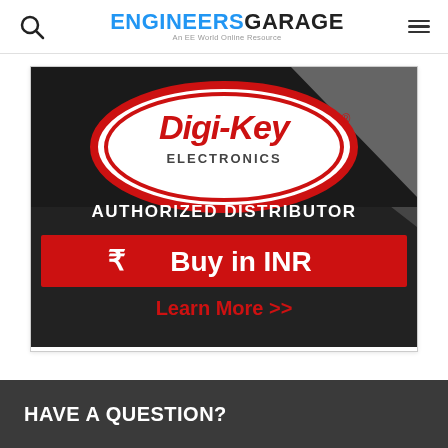ENGINEERS GARAGE — An EE World Online Resource
[Figure (logo): Digi-Key Electronics advertisement banner. Black and gray background with Digi-Key Electronics oval logo in red and white. Text reads: AUTHORIZED DISTRIBUTOR. Red button with rupee symbol: Buy in INR. Below: Learn More >>]
HAVE A QUESTION?